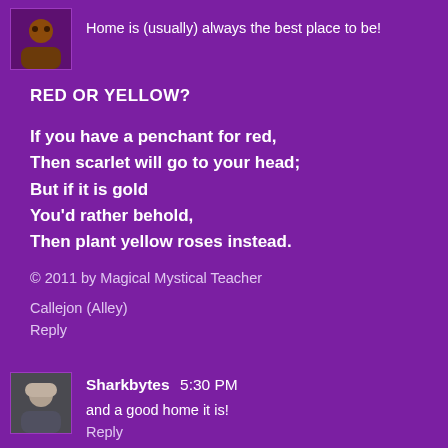[Figure (photo): Small avatar/profile image thumbnail at top left]
Home is (usually) always the best place to be!
RED OR YELLOW?
If you have a penchant for red,
Then scarlet will go to your head;
But if it is gold
You'd rather behold,
Then plant yellow roses instead.
© 2011 by Magical Mystical Teacher
Callejon (Alley)
Reply
[Figure (photo): Small avatar/profile image thumbnail at bottom left]
Sharkbytes  5:30 PM
and a good home it is!
Reply